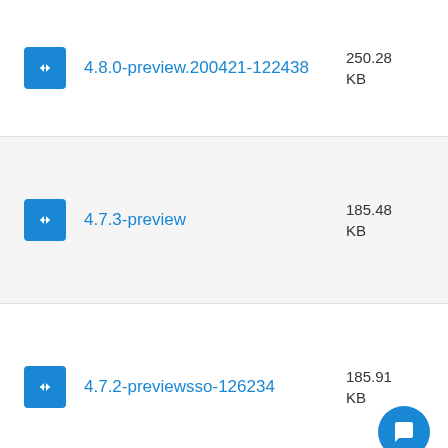4.8.0-preview.200421-122438, 250.28 KB
4.7.3-preview, 185.48 KB
4.7.2-previewsso-126234, 185.91 KB